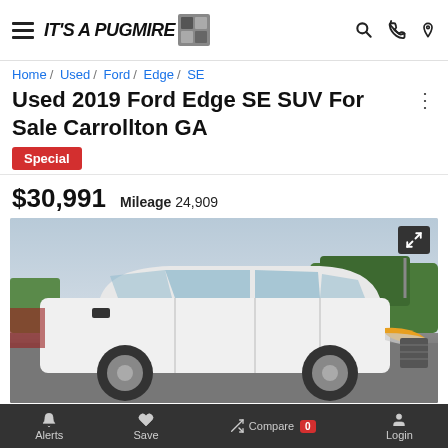IT'S A PUGMIRE [logo]
Home / Used / Ford / Edge / SE
Used 2019 Ford Edge SE SUV For Sale Carrollton GA
Special
$30,991   Mileage 24,909
[Figure (photo): White 2019 Ford Edge SE SUV parked in a dealership lot, front three-quarter view, cloudy sky background with trees visible.]
Alerts   Save   Compare 0   Login